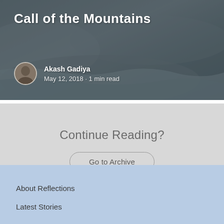[Figure (photo): Hero banner image showing a snowy/icy mountainous landscape with grey tones, overlaid with the article title and author information]
Call of the Mountains
Akash Gadiya
May 12, 2018 · 1 min read
Continue Reading?
Go to Archive
About Reflections
Latest Stories